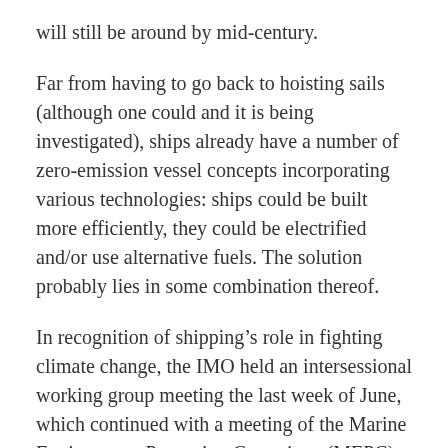will still be around by mid-century.
Far from having to go back to hoisting sails (although one could and it is being investigated), ships already have a number of zero-emission vessel concepts incorporating various technologies: ships could be built more efficiently, they could be electrified and/or use alternative fuels. The solution probably lies in some combination thereof.
In recognition of shipping’s role in fighting climate change, the IMO held an intersessional working group meeting the last week of June, which continued with a meeting of the Marine Environment Protection Committee (MEPC) the first week of July. The initial strategy should be presented next year, but taking action now will be equally important: the world can’t